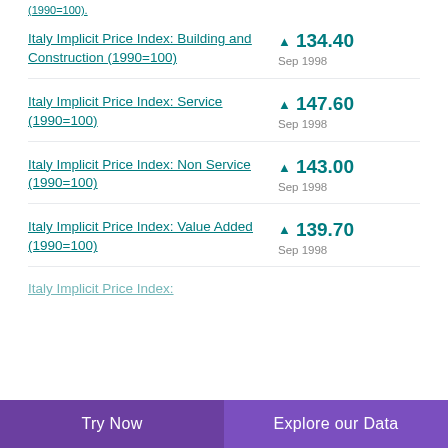(1990=100).
Italy Implicit Price Index: Building and Construction (1990=100) ▲ 134.40 Sep 1998
Italy Implicit Price Index: Service (1990=100) ▲ 147.60 Sep 1998
Italy Implicit Price Index: Non Service (1990=100) ▲ 143.00 Sep 1998
Italy Implicit Price Index: Value Added (1990=100) ▲ 139.70 Sep 1998
Italy Implicit Price Index:
Try Now | Explore our Data